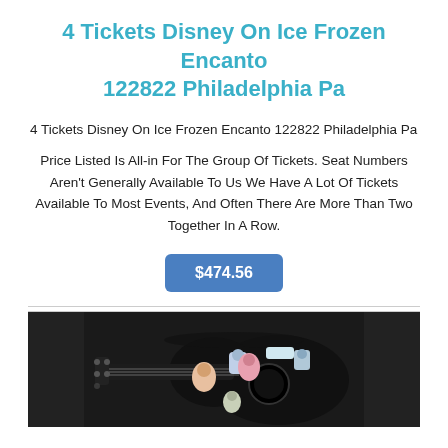4 Tickets Disney On Ice Frozen Encanto 122822 Philadelphia Pa
4 Tickets Disney On Ice Frozen Encanto 122822 Philadelphia Pa
Price Listed Is All-in For The Group Of Tickets. Seat Numbers Aren't Generally Available To Us We Have A Lot Of Tickets Available To Most Events, And Often There Are More Than Two Together In A Row.
$474.56
[Figure (photo): Photo of a black acoustic guitar with cartoon/movie character stickers on the body]